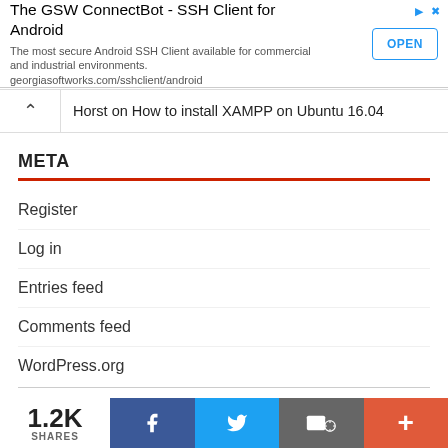[Figure (screenshot): Advertisement banner for The GSW ConnectBot - SSH Client for Android with an OPEN button]
Horst on How to install XAMPP on Ubuntu 16.04
META
Register
Log in
Entries feed
Comments feed
WordPress.org
[Figure (infographic): Social sharing bar showing 1.2K SHARES with Facebook, Twitter, Email, and More buttons]